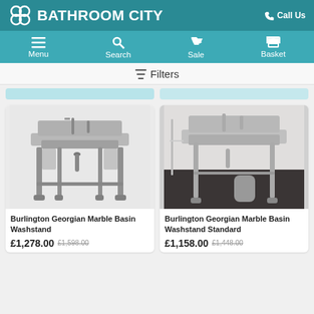[Figure (screenshot): Bathroom City website header with teal background, logo with overlapping circles, brand name 'BATHROOM CITY', and 'Call Us' link on the right]
[Figure (screenshot): Navigation bar with Menu, Search, Sale, and Basket icons on teal background]
Filters
[Figure (photo): Burlington Georgian Marble Basin Washstand product photo - ornate chrome and marble washstand with legs on white background]
Burlington Georgian Marble Basin Washstand
£1,278.00 £1,598.00
[Figure (photo): Burlington Georgian Marble Basin Washstand Standard product photo - marble top with chrome legs in room setting]
Burlington Georgian Marble Basin Washstand Standard
£1,158.00 £1,448.00